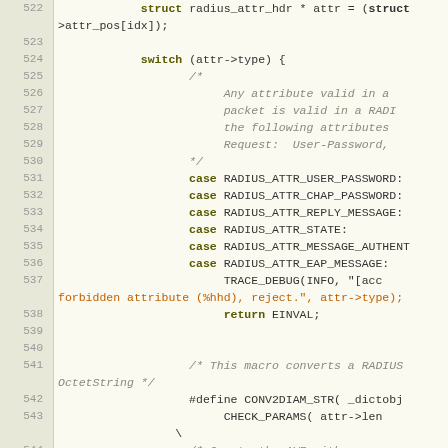[Figure (screenshot): Source code listing (C language) showing lines 522-547. Contains a switch statement on attr->type with case labels for RADIUS attribute constants, debug tracing, and macro definitions for CONV2DIAM_STR.]